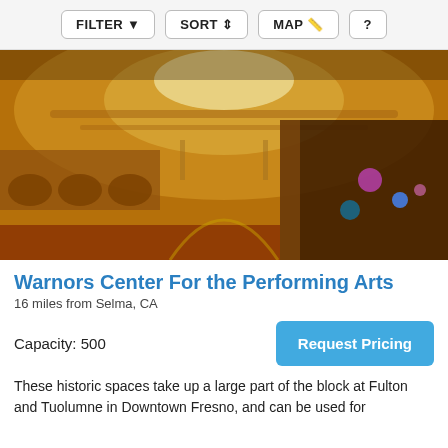FILTER  SORT  MAP  ?
[Figure (photo): Interior of Warnors Center for the Performing Arts — ornate historic theater with golden arched dome, decorative balconies, and stage lighting visible on the right.]
Warnors Center For the Performing Arts
16 miles from Selma, CA
Capacity: 500
Request Pricing
These historic spaces take up a large part of the block at Fulton and Tuolumne in Downtown Fresno, and can be used for